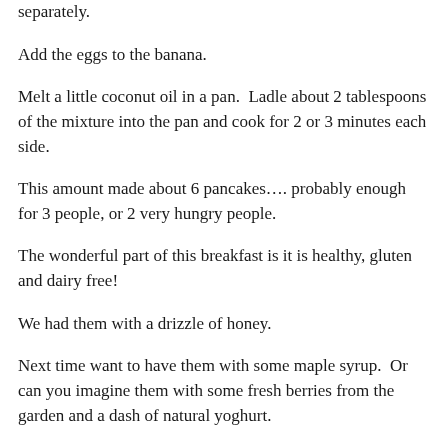separately.
Add the eggs to the banana.
Melt a little coconut oil in a pan.  Ladle about 2 tablespoons of the mixture into the pan and cook for 2 or 3 minutes each side.
This amount made about 6 pancakes…. probably enough for 3 people, or 2 very hungry people.
The wonderful part of this breakfast is it is healthy, gluten and dairy free!
We had them with a drizzle of honey.
Next time want to have them with some maple syrup.  Or can you imagine them with some fresh berries from the garden and a dash of natural yoghurt.